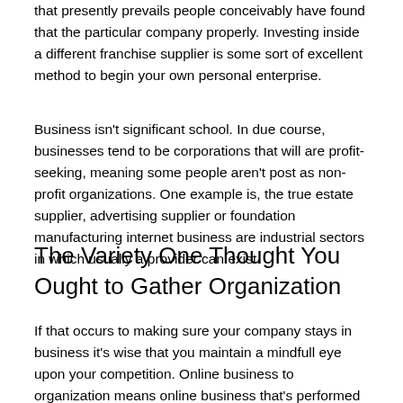that presently prevails people conceivably have found that the particular company properly. Investing inside a different franchise supplier is some sort of excellent method to begin your own personal enterprise.
Business isn't significant school. In due course, businesses tend to be corporations that will are profit-seeking, meaning some people aren't post as non-profit organizations. One example is, the true estate supplier, advertising supplier or foundation manufacturing internet business are industrial sectors in which usually a provider can exist.
The Variety One Thought You Ought to Gather Organization
If that occurs to making sure your company stays in business it's wise that you maintain a mindfull eye upon your competition. Online business to organization means online business that's performed between agencies, instead of around an organization along with individual shoppers. Third, firms must make an effort to earn a profit. You want to know how many companies that you simply going in order to tackle.